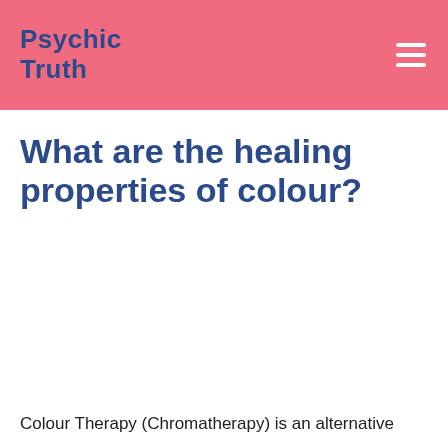Psychic Truth
What are the healing properties of colour?
Colour Therapy (Chromatherapy) is an alternative